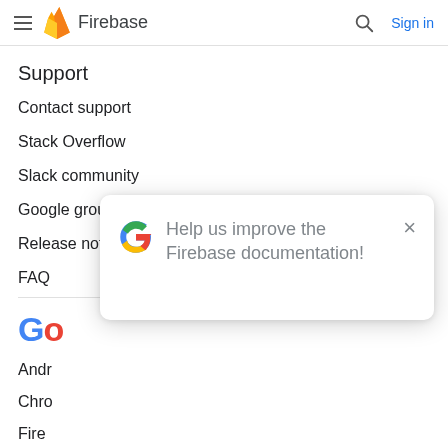Firebase
Support
Contact support
Stack Overflow
Slack community
Google group
Release notes
FAQ
[Figure (screenshot): Firebase documentation feedback modal dialog with Google G logo, text 'Help us improve the Firebase documentation!' and a close (×) button]
Go
Andr
Chro
Fire